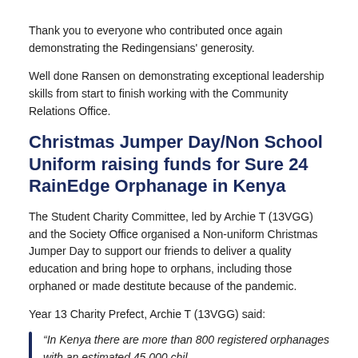Thank you to everyone who contributed once again demonstrating the Redingensians' generosity.
Well done Ransen on demonstrating exceptional leadership skills from start to finish working with the Community Relations Office.
Christmas Jumper Day/Non School Uniform raising funds for Sure 24 RainEdge Orphanage in Kenya
The Student Charity Committee, led by Archie T (13VGG) and the Society Office organised a Non-uniform Christmas Jumper Day to support our friends to deliver a quality education and bring hope to orphans, including those orphaned or made destitute because of the pandemic.
Year 13 Charity Prefect, Archie T (13VGG) said:
“In Kenya there are more than 800 registered orphanages with an estimated 45,000 chil...